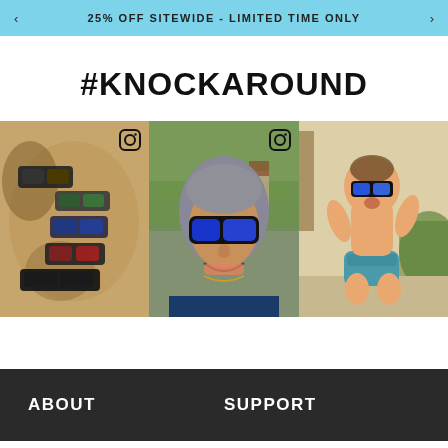25% OFF SITEWIDE - LIMITED TIME ONLY
#KNOCKAROUND
[Figure (photo): Three Instagram photos showing people wearing Knockaround sunglasses: left - multiple sunglasses on a rock surface; center - woman wearing blue mirrored sunglasses taking a selfie outdoors; right - baby wearing blue sunglasses sitting outside]
ABOUT
SUPPORT